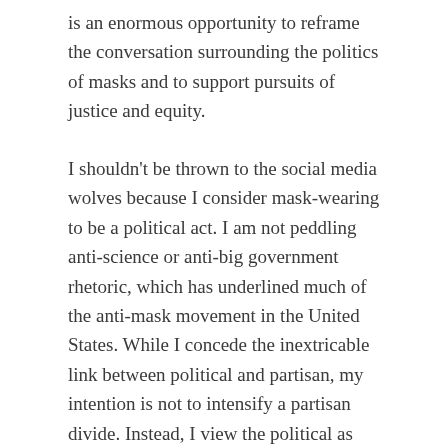is an enormous opportunity to reframe the conversation surrounding the politics of masks and to support pursuits of justice and equity.
I shouldn't be thrown to the social media wolves because I consider mask-wearing to be a political act. I am not peddling anti-science or anti-big government rhetoric, which has underlined much of the anti-mask movement in the United States. While I concede the inextricable link between political and partisan, my intention is not to intensify a partisan divide. Instead, I view the political as the engaged — as the active. I also understand the political to be cognizant of circumstances surrounding them.
As additional research furthers our understanding of the drastic health inequalities related to COVID-19, we are beginning to recognize the structural reasons why the